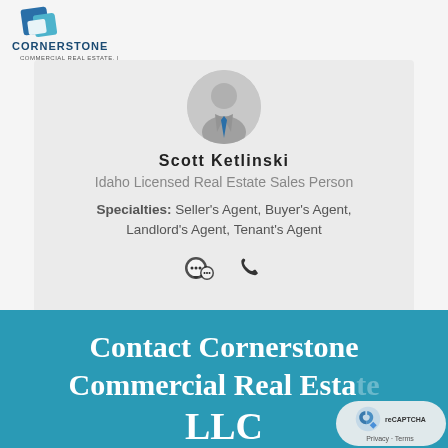[Figure (logo): Cornerstone Commercial Real Estate LLC logo — blue geometric C icon above company name]
[Figure (illustration): Generic profile avatar: grey circle with silhouette of person in suit with blue tie]
Scott Ketlinski
Idaho Licensed Real Estate Sales Person
Specialties: Seller's Agent, Buyer's Agent, Landlord's Agent, Tenant's Agent
[Figure (illustration): Chat/messaging icon and phone icon in dark grey]
Contact Cornerstone Commercial Real Estate LLC